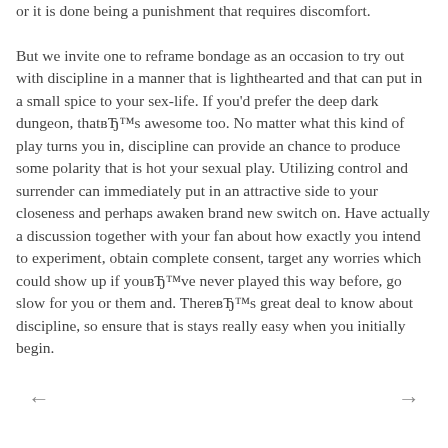or it is done being a punishment that requires discomfort.

But we invite one to reframe bondage as an occasion to try out with discipline in a manner that is lighthearted and that can put in a small spice to your sex-life. If you'd prefer the deep dark dungeon, thatвЂ™s awesome too. No matter what this kind of play turns you in, discipline can provide an chance to produce some polarity that is hot your sexual play. Utilizing control and surrender can immediately put in an attractive side to your closeness and perhaps awaken brand new switch on. Have actually a discussion together with your fan about how exactly you intend to experiment, obtain complete consent, target any worries which could show up if youвЂ™ve never played this way before, go slow for you or them and. ThereвЂ™s great deal to know about discipline, so ensure that is stays really easy when you initially begin.